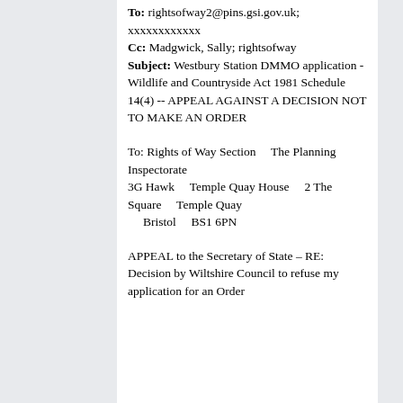To: rightsofway2@pins.gsi.gov.uk; xxxxxxxxxxxx Cc: Madgwick, Sally; rightsofway Subject: Westbury Station DMMO application - Wildlife and Countryside Act 1981 Schedule 14(4) -- APPEAL AGAINST A DECISION NOT TO MAKE AN ORDER
To: Rights of Way Section    The Planning Inspectorate 3G Hawk    Temple Quay House    2 The Square    Temple Quay    Bristol    BS1 6PN
APPEAL to the Secretary of State – RE: Decision by Wiltshire Council to refuse my application for an Order